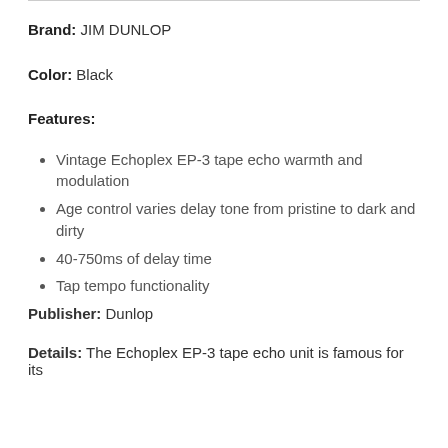Brand: JIM DUNLOP
Color: Black
Features:
Vintage Echoplex EP-3 tape echo warmth and modulation
Age control varies delay tone from pristine to dark and dirty
40-750ms of delay time
Tap tempo functionality
Publisher: Dunlop
Details: The Echoplex EP-3 tape echo unit is famous for its